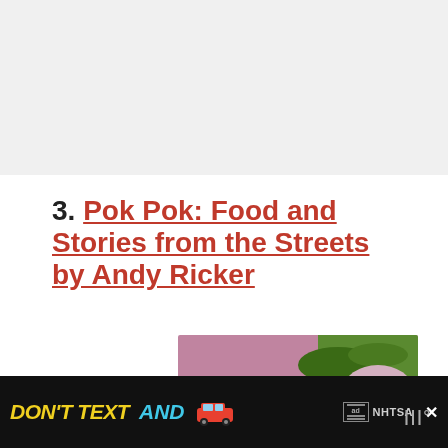|||°
3. Pok Pok: Food and Stories from the Streets by Andy Ricker
[Figure (photo): Book cover of 'Pok Pok: Food and Stories from the Streets' showing a mortar and pestle with Thai ingredients including green beans, chilies and herbs arranged on a colorful background with the text 'pok pok' in large letters]
WHAT'S NEXT → 5 Best Jamaican...
DON'T TEXT AND [car emoji] ad NHTSA
|||°